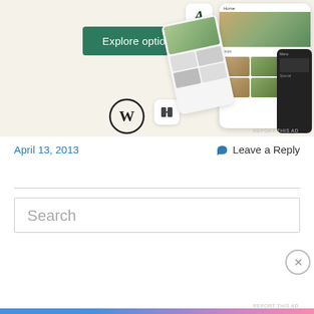[Figure (screenshot): Advertisement banner showing a WordPress website builder ad with 'Explore options' button, WordPress logo, food/restaurant app screenshots on mobile devices with 'A' logo icon, and a Hostinger-style icon.]
REPORT THIS AD
April 13, 2013
Leave a Reply
Search
Privacy & Cookies: This site uses cookies. By continuing to use this website, you agree to their use.
To find out more, including how to control cookies, see here: Cookie Policy
Close and accept
REPORT THIS AD